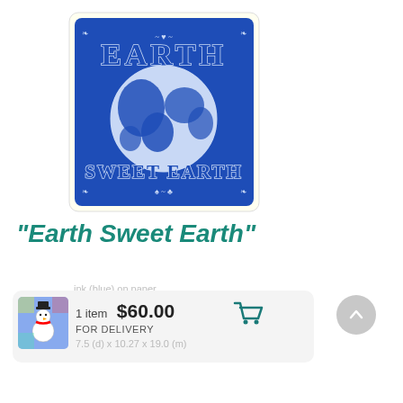[Figure (illustration): A blue linocut or woodblock print artwork on paper showing a globe with continents, surrounded by decorative lettering reading 'EARTH' at the top and 'SWEET EARTH' at the bottom, in blue ink on cream/white background]
“Earth Sweet Earth”
ink (blue) on paper
1 item  $60.00  FOR DELIVERY
7.5 (d) x 10.27 x 19.0 (m)